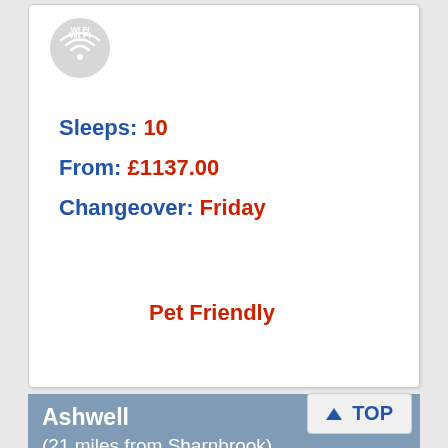[Figure (logo): Wi-Fi logo icon, grey circle with white Wi-Fi signal symbol]
Sleeps: 10
From: £1137.00
Changeover: Friday
Pet Friendly
Ashwell
(21 miles from Sharnbrook)